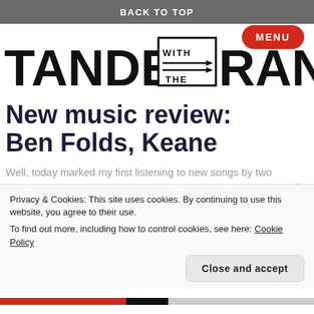BACK TO TOP
[Figure (logo): TANDEM WITH THE RANDOM logo with shuffle arrows icon in center box]
New music review: Ben Folds, Keane
Well, today marked my first listening to new songs by two
Privacy & Cookies: This site uses cookies. By continuing to use this website, you agree to their use. To find out more, including how to control cookies, see here: Cookie Policy
Close and accept